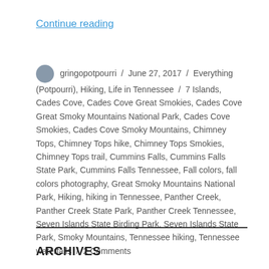Continue reading
gringopotpourri / June 27, 2017 / Everything (Potpourri), Hiking, Life in Tennessee / 7 Islands, Cades Cove, Cades Cove Great Smokies, Cades Cove Great Smoky Mountains National Park, Cades Cove Smokies, Cades Cove Smoky Mountains, Chimney Tops, Chimney Tops hike, Chimney Tops Smokies, Chimney Tops trail, Cummins Falls, Cummins Falls State Park, Cummins Falls Tennessee, Fall colors, fall colors photography, Great Smoky Mountains National Park, Hiking, hiking in Tennessee, Panther Creek, Panther Creek State Park, Panther Creek Tennessee, Seven Islands State Birding Park, Seven Islands State Park, Smoky Mountains, Tennessee hiking, Tennessee waterfalls / 2 Comments
ARCHIVES